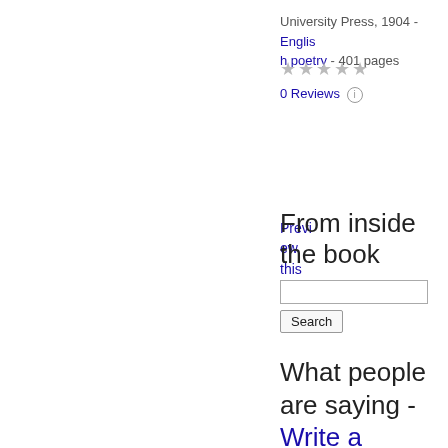University Press, 1904 - English poetry - 401 pages
★★★★★
0 Reviews ⓘ
Preview this book
From inside the book
Search
What people are saying - Write a review